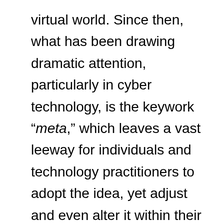virtual world. Since then, what has been drawing dramatic attention, particularly in cyber technology, is the keywork “meta,” which leaves a vast leeway for individuals and technology practitioners to adopt the idea, yet adjust and even alter it within their personalized context. Integrating this idea within the contemporary hype of the IT industry, however, doesn’t fulfill the original vision. Exploring the background of this catchphrase will give us a deeper understanding of its meaning and origin.